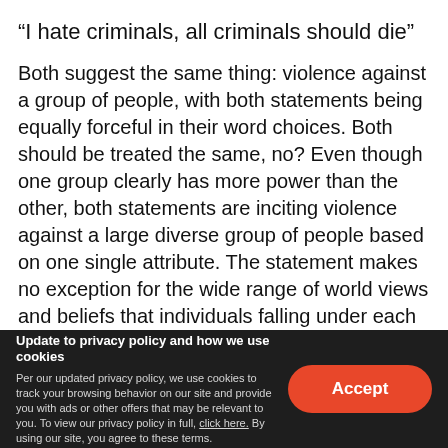“I hate criminals, all criminals should die”
Both suggest the same thing: violence against a group of people, with both statements being equally forceful in their word choices. Both should be treated the same, no? Even though one group clearly has more power than the other, both statements are inciting violence against a large diverse group of people based on one single attribute. The statement makes no exception for the wide range of world views and beliefs that individuals falling under each group might have; it just lumps them both into homogeneous groups. So then, why is it that racial slurs against black people and other “under-privileged” groups are viewed by many protesters as “calls for violence” while other protesters
Update to privacy policy and how we use cookies
Per our updated privacy policy, we use cookies to track your browsing behavior on our site and provide you with ads or other offers that may be relevant to you. To view our privacy policy in full, click here. By using our site, you agree to these terms.